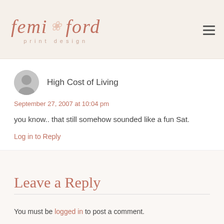femi ford print design
High Cost of Living
September 27, 2007 at 10:04 pm
you know.. that still somehow sounded like a fun Sat.
Log in to Reply
Leave a Reply
You must be logged in to post a comment.